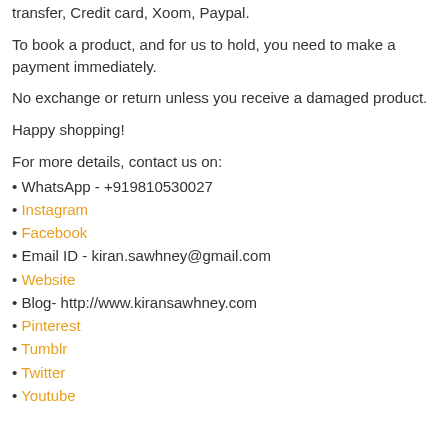transfer, Credit card, Xoom, Paypal.
To book a product, and for us to hold, you need to make a payment immediately.
No exchange or return unless you receive a damaged product.
Happy shopping!
For more details, contact us on:
• WhatsApp - +919810530027
• Instagram
• Facebook
• Email ID - kiran.sawhney@gmail.com
• Website
• Blog- http://www.kiransawhney.com
• Pinterest
• Tumblr
• Twitter
• Youtube